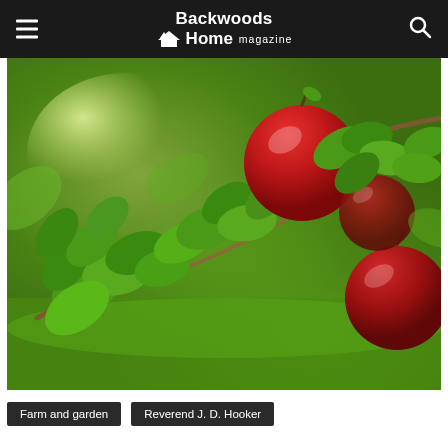Backwoods Home magazine
[Figure (photo): Close-up photograph of red apples hanging on a branch with green leaves, bokeh green background]
Farm and garden
Reverend J. D. Hooker